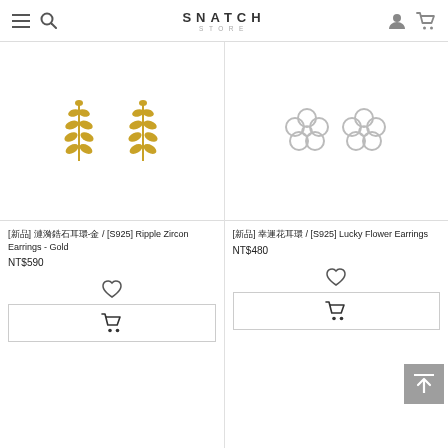SNATCH STORE
[Figure (photo): Two gold leaf/wheat-shaped earrings on white background]
[新品] 漣漪鋯石耳環-金 / [S925] Ripple Zircon Earrings - Gold
NT$590
[Figure (photo): Two silver flower-shaped earrings on white background]
[新品] 幸運花耳環 / [S925] Lucky Flower Earrings
NT$480